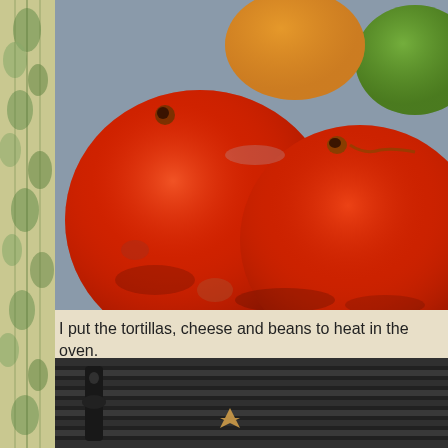[Figure (photo): Close-up photograph of fresh red tomatoes on a gray/blue surface, with green and orange-green unripe tomatoes visible in the background.]
I put the tortillas, cheese and beans to heat in the oven.
[Figure (photo): Photograph of a black cast-iron grill pan with grill ridges, with a brown handle visible, and what appears to be a small food item on the grill.]